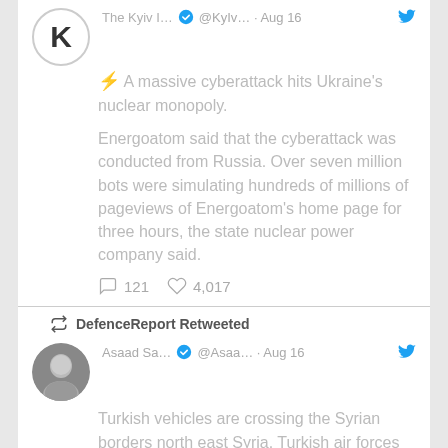⚡ A massive cyberattack hits Ukraine's nuclear monopoly.
Energoatom said that the cyberattack was conducted from Russia. Over seven million bots were simulating hundreds of millions of pageviews of Energoatom's home page for three hours, the state nuclear power company said.
💬 121  🤍 4,017
DefenceReport Retweeted
Asaad Sa... @Asaa... · Aug 16
Turkish vehicles are crossing the Syrian borders north east Syria. Turkish air forces flying over the convoys, at the same time Turkish artillery is firing on the PYD/PKK positions.
The Turkish operation against the PYD has started.